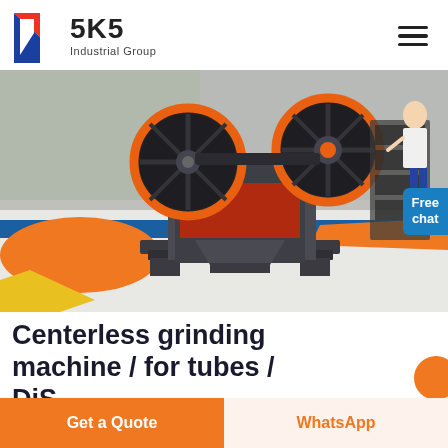SKS Industrial Group
[Figure (photo): Industrial jaw crusher machine with large black and orange flywheels, mounted on a grey base, displayed in a factory/warehouse setting with colorful floor markings. A person and additional machinery visible in background. A blue 'Free chat' badge overlays the top right.]
Centerless grinding machine / for tubes / DiS...
Get a Quote   WhatsApp